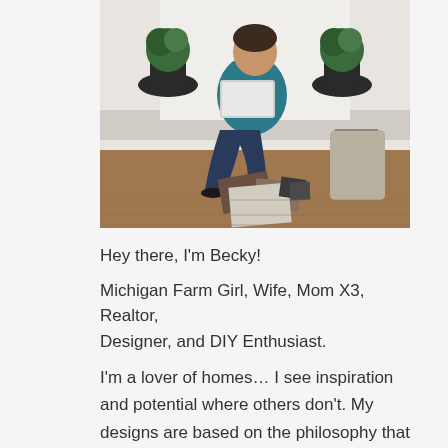[Figure (photo): A person sitting on steps with a laptop, surrounded by material samples and design boards on a wood floor, with potted topiaries on either side]
Hey there, I'm Becky!
Michigan Farm Girl, Wife, Mom X3, Realtor, Designer, and DIY Enthusiast.
I'm a lover of homes… I see inspiration and potential where others don't. My designs are based on the philosophy that dream spaces don't have to have huge price tags. I hope that whether you are looking for